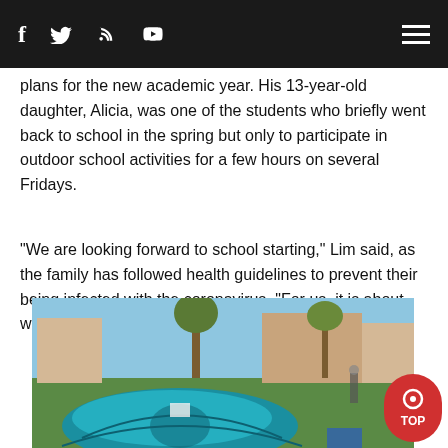f  [twitter]  [rss]  [YouTube]  [menu]
plans for the new academic year. His 13-year-old daughter, Alicia, was one of the students who briefly went back to school in the spring but only to participate in outdoor school activities for a few hours on several Fridays.
"We are looking forward to school starting," Lim said, as the family has followed health guidelines to prevent their being infected with the coronavirus. "For us, it is about wearing masks and being vaccinated."
[Figure (photo): Outdoor scene showing a blue dome tent in a park or school ground with buildings and trees in the background, taken on a clear day.]